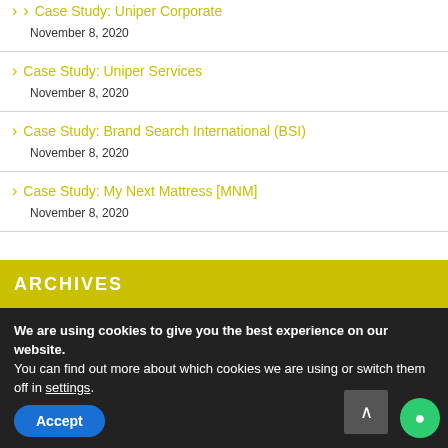Case Study: Uniper Corporate — November 8, 2020
Case Study: Uniper Services — November 8, 2020
Case Study: Brand Search International (BSI) — November 8, 2020
Case Study: My Next Mattress [MNM] — November 8, 2020
ARCHIVES
We are using cookies to give you the best experience on our website.
You can find out more about which cookies we are using or switch them off in settings.
Accept